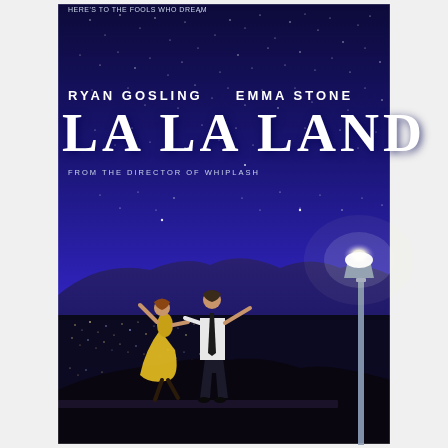[Figure (illustration): La La Land movie poster featuring Ryan Gosling and Emma Stone dancing on a hilltop overlook at night with a starry deep blue/purple sky, city lights below, mountains in the background, and a street lamp on the right side. The woman wears a yellow dress and the man wears a white shirt with a black tie.]
HERE'S TO THE FOOLS WHO DREAM
RYAN GOSLING   EMMA STONE
LA LA LAND
FROM THE DIRECTOR OF WHIPLASH